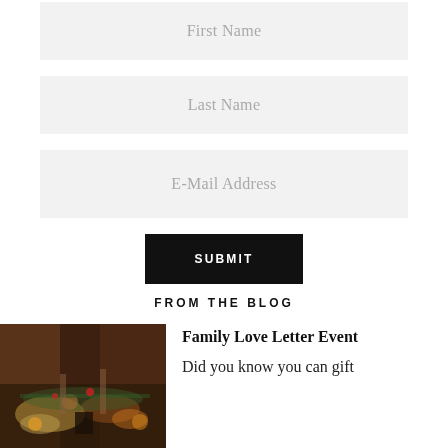First Name
Last Name
E-Mail Address
SUBMIT
FROM THE BLOG
[Figure (photo): Photo of a festive table with food, flowers, greenery and candles in warm lighting]
Family Love Letter Event
Did you know you can gift